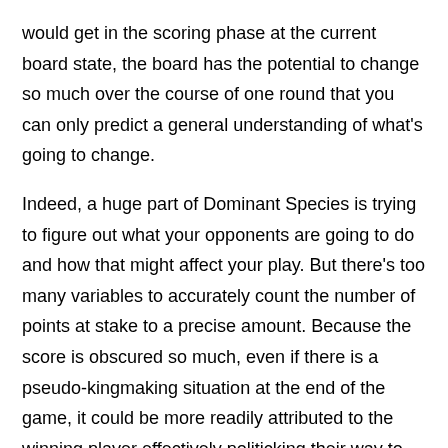would get in the scoring phase at the current board state, the board has the potential to change so much over the course of one round that you can only predict a general understanding of what's going to change.

Indeed, a huge part of Dominant Species is trying to figure out what your opponents are going to do and how that might affect your play. But there's too many variables to accurately count the number of points at stake to a precise amount. Because the score is obscured so much, even if there is a pseudo-kingmaking situation at the end of the game, it could be more readily attributed to the winning player effectively politicking their way to the top in a subtle way (not bullying the other players but disguising their intentions and using the mechanisms of the game to use their opponent's tendencies